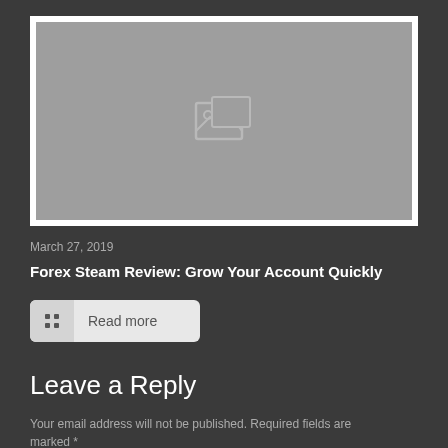[Figure (photo): Placeholder image with broken image icon on grey background]
March 27, 2019
Forex Steam Review: Grow Your Account Quickly
Read more
Leave a Reply
Your email address will not be published. Required fields are marked *